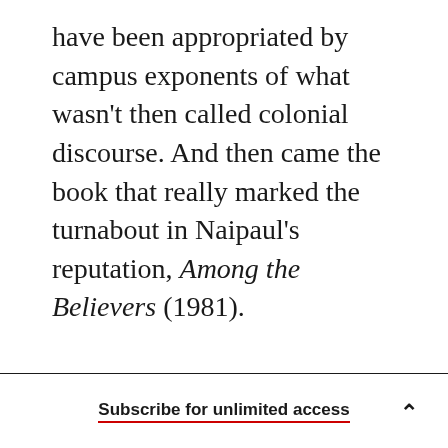have been appropriated by campus exponents of what wasn't then called colonial discourse. And then came the book that really marked the turnabout in Naipaul's reputation, Among the Believers (1981).
Subscribe for unlimited access